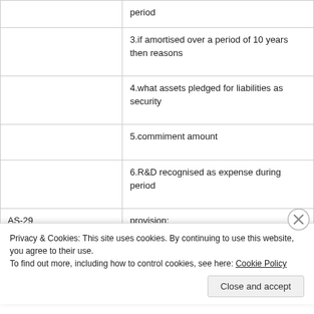|  |  |
| --- | --- |
|  | period |
|  | 3.if amortised over a period of 10 years then reasons |
|  | 4.what assets pledged for liabilities as security |
|  | 5.commiment amount |
|  | 6.R&D recognised as expense during period |
| AS-29 provisions,contingent liabilities | provision: |
| and assets | 1.carrying amount |
Privacy & Cookies: This site uses cookies. By continuing to use this website, you agree to their use.
To find out more, including how to control cookies, see here: Cookie Policy